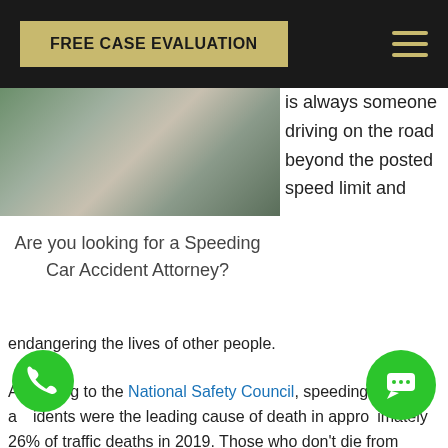FREE CASE EVALUATION
[Figure (photo): Photo of a person in a car, appears to be related to a car accident or injury scenario]
is always someone driving on the road beyond the posted speed limit and endangering the lives of other people.
Are you looking for a Speeding Car Accident Attorney?
According to the National Safety Council, speeding accidents were the leading cause of death in approximately 26% of traffic deaths in 2019. Those who don't die from